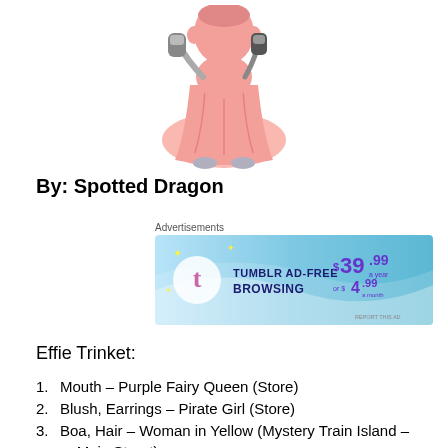[Figure (illustration): Cartoon pink figure in a dress holding a microphone, viewed from above/back, wearing grey shoes.]
By: Spotted Dragon
[Figure (other): Tumblr Ad-Free Browsing advertisement banner. $39.99 a year or $4.99 a month. Blue gradient background with Tumblr logo.]
Effie Trinket:
Mouth – Purple Fairy Queen (Store)
Blush, Earrings – Pirate Girl (Store)
Boa, Hair – Woman in Yellow (Mystery Train Island – Main Street)
Shirt, Dress – Woman in Pink (Mystery Train – Main Street)